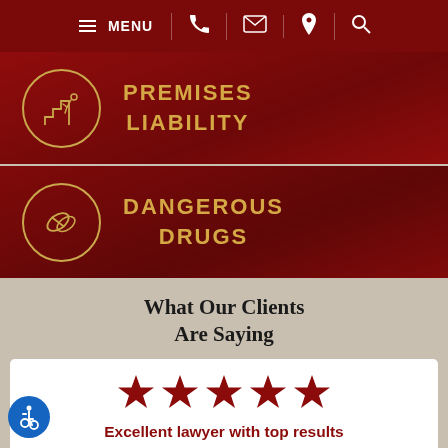MENU [navigation icons]
[Figure (illustration): Premises Liability banner with person-falling-on-stairs icon in gold circle on dark red background]
PREMISES LIABILITY
[Figure (illustration): Dangerous Drugs banner with pills icon in gold circle on dark red background]
DANGEROUS DRUGS
What Our Clients Are Saying
[Figure (illustration): Five red stars rating]
Excellent lawyer with top results
Gilbert represented me in an on-the-job injury against a third party. I was crushed between large paper rolls, crushing and severely injury my...